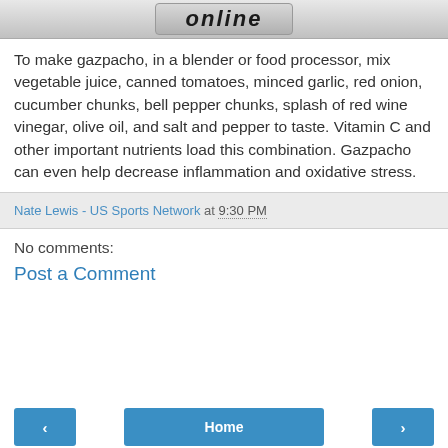[Figure (logo): Banner with stylized italic bold 'online' text on a gray metallic background]
To make gazpacho, in a blender or food processor, mix vegetable juice, canned tomatoes, minced garlic, red onion, cucumber chunks, bell pepper chunks, splash of red wine vinegar, olive oil, and salt and pepper to taste. Vitamin C and other important nutrients load this combination. Gazpacho can even help decrease inflammation and oxidative stress.
Nate Lewis - US Sports Network at 9:30 PM
No comments:
Post a Comment